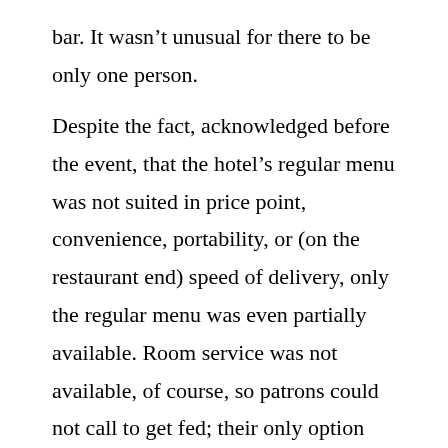bar. It wasn't unusual for there to be only one person.
Despite the fact, acknowledged before the event, that the hotel's regular menu was not suited in price point, convenience, portability, or (on the restaurant end) speed of delivery, only the regular menu was even partially available. Room service was not available, of course, so patrons could not call to get fed; their only option was to attempt to make it to the bar, get the attention of the beleaguered staff, and wait on food which was clearly never intended for mass service, or even large-scale service. Attendees could see row after row of tables, but were forbidden from using them for eating the only food readily available, ie, delivery; we were, of course, contractually obligated to attempt to